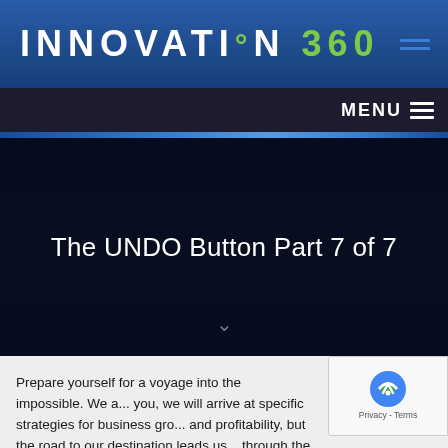INNOVATI°N 360
The UNDO Button Part 7 of 7
Prepare yourself for a voyage into the impossible. We a... you, we will arrive at specific strategies for business gro... and profitability, but the road to our destination leads us... through the darkest forests of theoretical physics. Don't be...